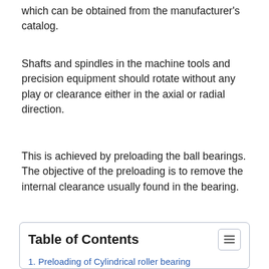which can be obtained from the manufacturer's catalog.
Shafts and spindles in the machine tools and precision equipment should rotate without any play or clearance either in the axial or radial direction.
This is achieved by preloading the ball bearings. The objective of the preloading is to remove the internal clearance usually found in the bearing.
Table of Contents
1. Preloading of Cylindrical roller bearing
1.0.1. The precaution to be taken during